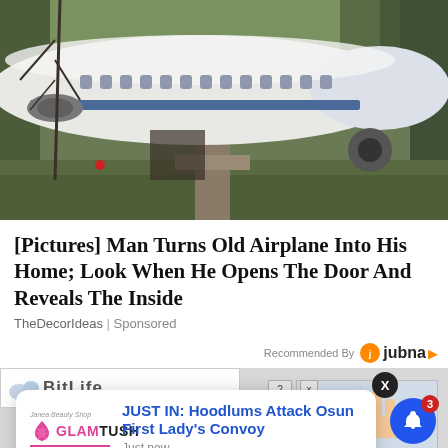[Figure (photo): Airplane converted into a home, sitting on supports in a wooded area with trees surrounding it. The white aircraft fuselage is visible with windows and a blue stripe. Ground level shows debris and a support pillar.]
[Pictures] Man Turns Old Airplane Into His Home; Look When He Opens The Door And Reveals The Inside
TheDecorIdeas | Sponsored
Recommended By jubna
[Figure (screenshot): BitLife banner advertisement partially visible]
JUST IN: Hoodlums Attack Osun First Lady's Convoy
Just now